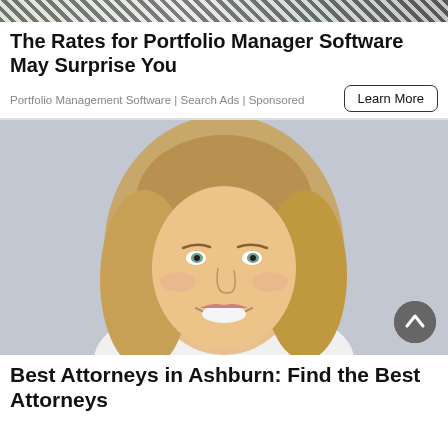[Figure (photo): Partial top image showing plants/vase and striped fabric]
The Rates for Portfolio Manager Software May Surprise You
Portfolio Management Software | Search Ads | Sponsored
[Figure (photo): Portrait of a smiling blonde woman with long wavy hair against a light grey background]
Best Attorneys in Ashburn: Find the Best Attorneys